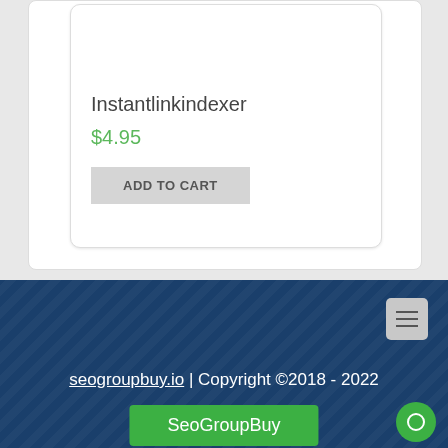Instantlinkindexer
$4.95
ADD TO CART
seogroupbuy.io | Copyright ©2018 - 2022
SeoGroupBuy